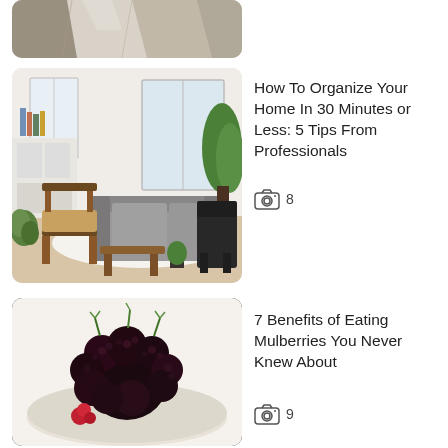[Figure (photo): Partial view of hanging clothing items (tops/shirts) in neutral/beige tones — cropped at top]
[Figure (photo): Bright living room with grey sofa, wooden chair, white cabinets, plants, and natural light from windows]
How To Organize Your Home In 30 Minutes or Less: 5 Tips From Professionals
8 (camera icon)
[Figure (photo): Close-up of dark purple/black mulberries in a white bowl on a light background]
7 Benefits of Eating Mulberries You Never Knew About
9 (camera icon)